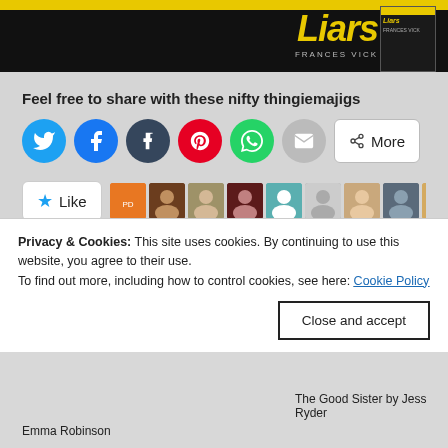[Figure (illustration): Top portion of a book cover with yellow text reading 'Liars' by Frances Vick on dark background with yellow top stripe]
Feel free to share with these nifty thingiemajigs
[Figure (infographic): Social share buttons: Twitter (blue circle), Facebook (blue circle), Tumblr (dark blue circle), Pinterest (red circle), WhatsApp (green circle), Email (gray circle), and a 'More' button]
[Figure (infographic): Like button with star icon followed by a strip of 11 blogger avatar thumbnails]
46 bloggers like this.
Related
[Figure (screenshot): Two related post cards shown side by side, left card light colored, right card colored blue/yellow]
Privacy & Cookies: This site uses cookies. By continuing to use this website, you agree to their use.
To find out more, including how to control cookies, see here: Cookie Policy
Close and accept
The Good Sister by Jess Ryder
Emma Robinson